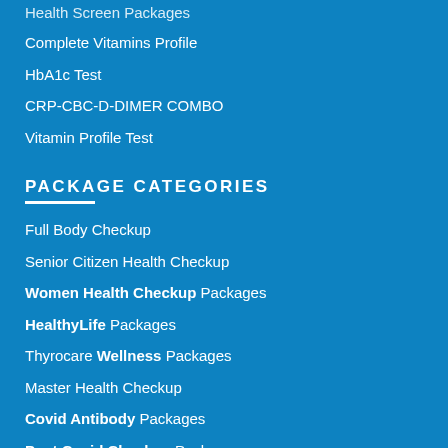Health Screen Packages
Complete Vitamins Profile
HbA1c Test
CRP-CBC-D-DIMER COMBO
Vitamin Profile Test
PACKAGE CATEGORIES
Full Body Checkup
Senior Citizen Health Checkup
Women Health Checkup Packages
HealthyLife Packages
Thyrocare Wellness Packages
Master Health Checkup
Covid Antibody Packages
Post Covid Checkup Packages
LATEST ARTICLES